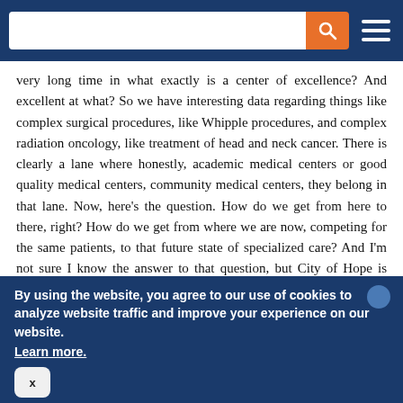[Search bar and navigation header]
very long time in what exactly is a center of excellence? And excellent at what? So we have interesting data regarding things like complex surgical procedures, like Whipple procedures, and complex radiation oncology, like treatment of head and neck cancer. There is clearly a lane where honestly, academic medical centers or good quality medical centers, community medical centers, they belong in that lane. Now, here's the question. How do we get from here to there, right? How do we get from where we are now, competing for the same patients, to that future state of specialized care? And I'm not sure I know the answer to that question, but City of Hope is going to help us understand it the first week of March. So I'm looking forward to it.
Alexis Bortniker
By using the website, you agree to our use of cookies to analyze website traffic and improve your experience on our website. Learn more.